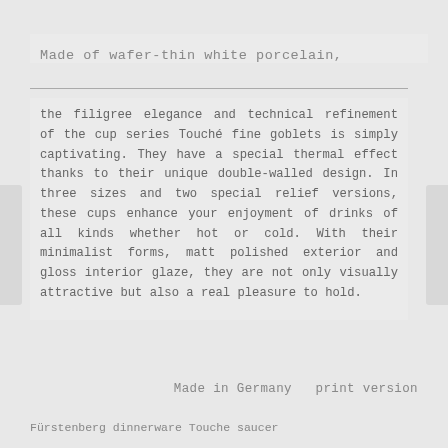Made of wafer-thin white porcelain,
the filigree elegance and technical refinement of the cup series Touché fine goblets is simply captivating. They have a special thermal effect thanks to their unique double-walled design. In three sizes and two special relief versions, these cups enhance your enjoyment of drinks of all kinds whether hot or cold. With their minimalist forms, matt polished exterior and gloss interior glaze, they are not only visually attractive but also a real pleasure to hold.
Made in Germany   print version
Fürstenberg dinnerware Touche saucer